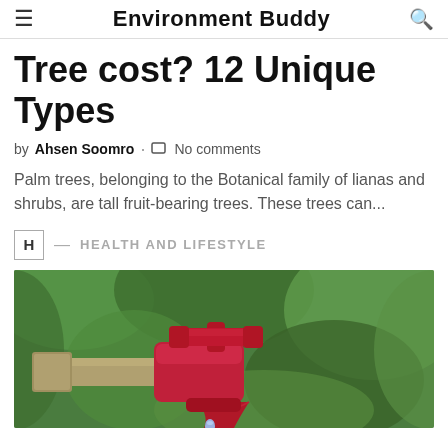Environment Buddy
Tree cost? 12 Unique Types
by Ahsen Soomro · No comments
Palm trees, belonging to the Botanical family of lianas and shrubs, are tall fruit-bearing trees. These trees can...
H — HEALTH AND LIFESTYLE
[Figure (photo): Close-up photo of a red outdoor water faucet/tap with a drip, mounted on a pipe, against a blurred green foliage background]